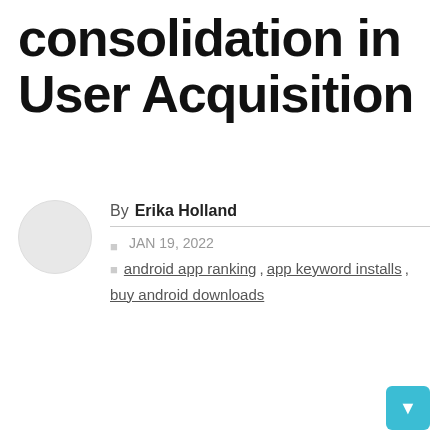consolidation in User Acquisition
By Erika Holland
JAN 19, 2022  android app ranking, app keyword installs, buy android downloads